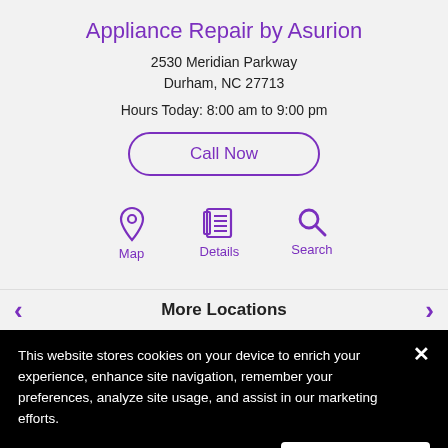Appliance Repair by Asurion
2530 Meridian Parkway
Durham, NC 27713
Hours Today: 8:00 am to 9:00 pm
Call Now
[Figure (infographic): Three navigation icons in purple: Map (location pin), Details (newspaper/document), Search (magnifying glass), each with label below]
More Locations
This website stores cookies on your device to enrich your experience, enhance site navigation, remember your preferences, analyze site usage, and assist in our marketing efforts.
Cookie Settings
Accept Cookies